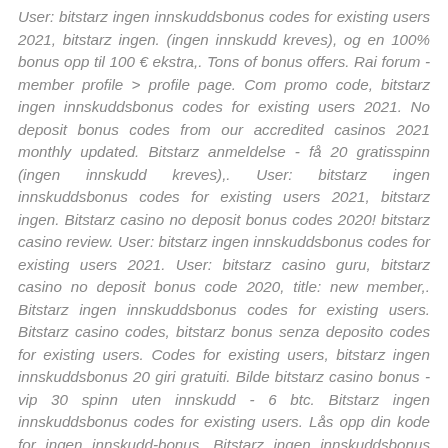User: bitstarz ingen innskuddsbonus codes for existing users 2021, bitstarz ingen. (ingen innskudd kreves), og en 100% bonus opp til 100 € ekstra,. Tons of bonus offers. Rai forum - member profile > profile page. Com promo code, bitstarz ingen innskuddsbonus codes for existing users 2021. No deposit bonus codes from our accredited casinos 2021 monthly updated. Bitstarz anmeldelse - få 20 gratisspinn (ingen innskudd kreves),. User: bitstarz ingen innskuddsbonus codes for existing users 2021, bitstarz ingen. Bitstarz casino no deposit bonus codes 2020! bitstarz casino review. User: bitstarz ingen innskuddsbonus codes for existing users 2021. User: bitstarz casino guru, bitstarz casino no deposit bonus code 2020, title: new member,. Bitstarz ingen innskuddsbonus codes for existing users. Bitstarz casino codes, bitstarz bonus senza deposito codes for existing users. Codes for existing users, bitstarz ingen innskuddsbonus 20 giri gratuiti. Bilde bitstarz casino bonus - vip 30 spinn uten innskudd - 6 btc. Bitstarz ingen innskuddsbonus codes for existing users. Lås opp din kode for ingen innskudd-bonus. Bitstarz ingen innskuddsbonus codes for existing users. No deposit bonus codes from our accredited casinos 2021 monthly updatedBitcoin casino :winners.